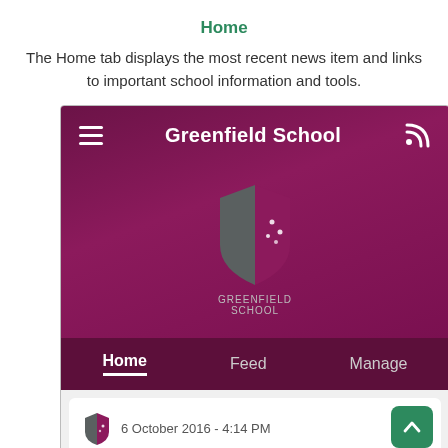Home
The Home tab displays the most recent news item and links to important school information and tools.
[Figure (screenshot): Mobile app screenshot showing Greenfield School app with navigation bar (Home, Feed, Manage tabs), school shield logo, and a news card dated 6 October 2016 - 4:14 PM with headline 'September eNewsletter' and text starting with 'Click here to view our latest Schoolzine']